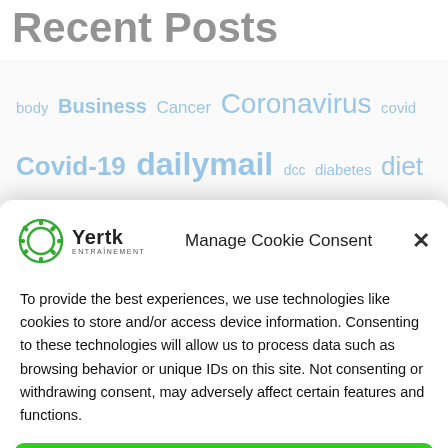Recent Posts
body Business Cancer Coronavirus covid Covid-19 dailymail dcc diabetes diet
Manage Cookie Consent
To provide the best experiences, we use technologies like cookies to store and/or access device information. Consenting to these technologies will allow us to process data such as browsing behavior or unique IDs on this site. Not consenting or withdrawing consent, may adversely affect certain features and functions.
Accept